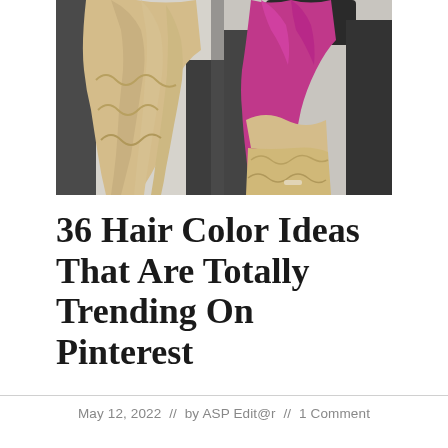[Figure (photo): Side-by-side photos of two women showing their hair from the back: left photo shows long wavy blonde hair, right photo shows hair with magenta/pink roots fading to blonde wavy ends, person wearing a black hat]
36 Hair Color Ideas That Are Totally Trending On Pinterest
May 12, 2022  //  by ASP Edit@r  //  1 Comment